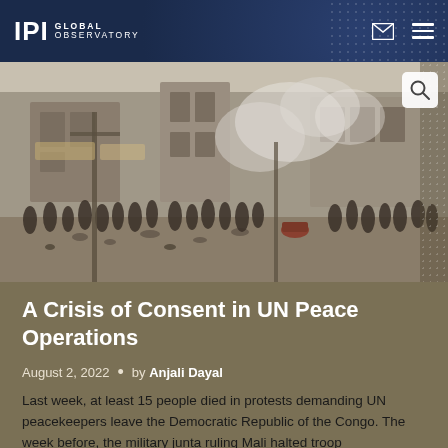IPI GLOBAL OBSERVATORY
[Figure (photo): Crowd of people in a street scene with smoke or tear gas rising in the background, buildings visible, rubble on the ground — a protest or civil unrest scene]
A Crisis of Consent in UN Peace Operations
August 2, 2022  •  by Anjali Dayal
Last week, at least 15 people died in protests demanding UN peacekeepers leave the Democratic Republic of the Congo. The week before, the military junta ruling Mali halted troop